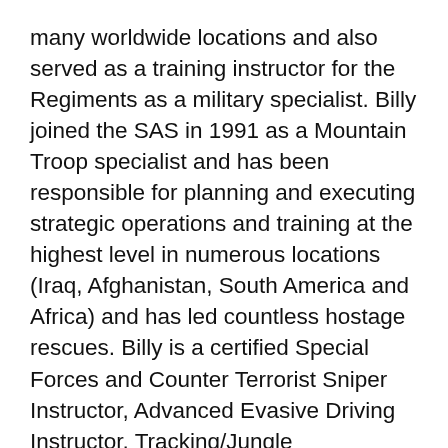many worldwide locations and also served as a training instructor for the Regiments as a military specialist. Billy joined the SAS in 1991 as a Mountain Troop specialist and has been responsible for planning and executing strategic operations and training at the highest level in numerous locations (Iraq, Afghanistan, South America and Africa) and has led countless hostage rescues. Billy is a certified Special Forces and Counter Terrorist Sniper Instructor, Advanced Evasive Driving Instructor, Tracking/Jungle Warfare/Navigation Instructor, Demolition/Sabotage Instructor, Ski Mountaineering/Rock Climbing/Abseiling/Ice climbing Instructor, Combat Survival/RTI Instructor, Counter Terrorist Instructor (all options) and has worked as a Patrol Medic/Trauma Life Support agent for five hospital attachments.